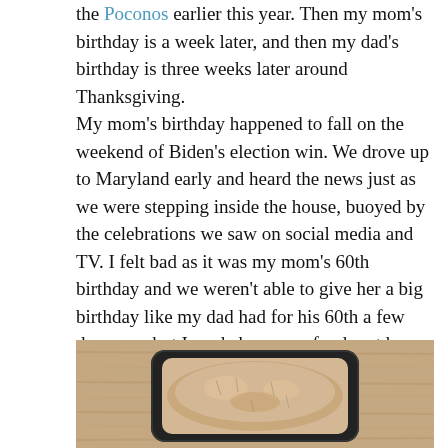the Poconos earlier this year. Then my mom's birthday is a week later, and then my dad's birthday is three weeks later around Thanksgiving.
My mom's birthday happened to fall on the weekend of Biden's election win. We drove up to Maryland early and heard the news just as we were stepping inside the house, buoyed by the celebrations we saw on social media and TV. I felt bad as it was my mom's 60th birthday and we weren't able to give her a big birthday like my dad had for his 60th a few days ago, but I made her some food, got her cake, flowers, and balloons and had hot pot for dinner. I swear my mother is the biggest social media user of our family and couldn't wait to post these pictures to her WeChat of her balloons!
[Figure (photo): A black rectangular baking pan containing what appears to be focaccia bread or similar baked good, placed on a wooden surface.]